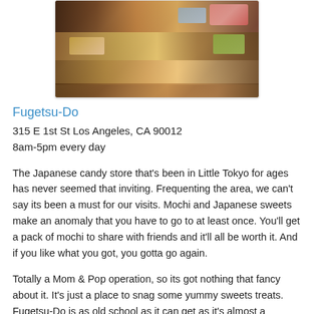[Figure (photo): Interior of a Japanese candy store with shelves full of packaged mochi, sweets, and snacks viewed from above at an angle]
Fugetsu-Do
315 E 1st St Los Angeles, CA 90012
8am-5pm every day
The Japanese candy store that's been in Little Tokyo for ages has never seemed that inviting. Frequenting the area, we can't say its been a must for our visits. Mochi and Japanese sweets make an anomaly that you have to go to at least once. You'll get a pack of mochi to share with friends and it'll all be worth it. And if you like what you got, you gotta go again.
Totally a Mom & Pop operation, so its got nothing that fancy about it. It's just a place to snag some yummy sweets treats. Fugetsu-Do is as old school as it can get as it's almost a